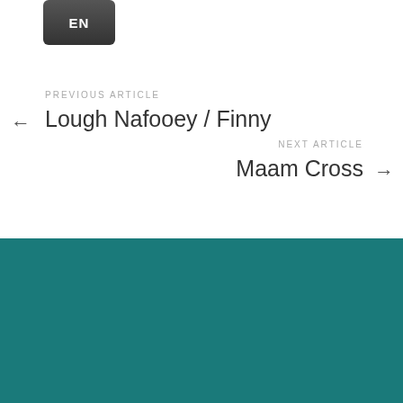[Figure (screenshot): EN language button, dark rounded rectangle with white EN text]
PREVIOUS ARTICLE
← Lough Nafooey / Finny
NEXT ARTICLE
Maam Cross →
FAQ   TERMS & CONDITIONS   ABOUT   CONTACT
TIONSCADAL GEOPHÁIRC
Dhúiche Sheoigheach